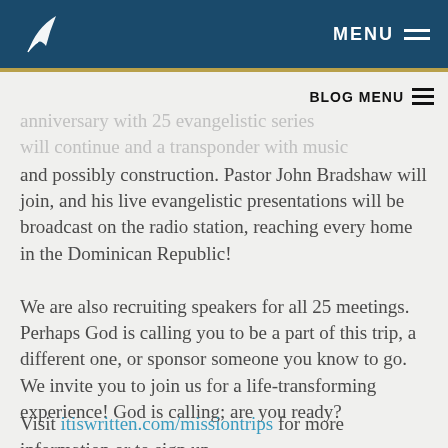It Is Written — MENU
anniversary with 25 evangelistic series will continue and a transponder with music and possibly construction. Pastor John Bradshaw will join, and his live evangelistic presentations will be broadcast on the radio station, reaching every home in the Dominican Republic!
We are also recruiting speakers for all 25 meetings. Perhaps God is calling you to be a part of this trip, a different one, or sponsor someone you know to go. We invite you to join us for a life-transforming experience! God is calling; are you ready?
Visit itiswritten.com/missiontrips for more information or to sign up.